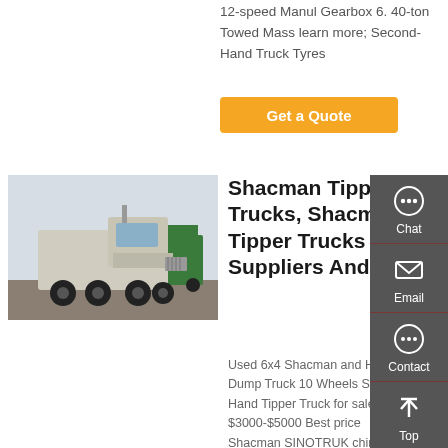12-speed Manul Gearbox 6. 40-ton Towed Mass learn more; Second-Hand Truck Tyres
Get a Quote
[Figure (photo): Photo of a white Shacman heavy truck (tractor unit) parked in a yard with other trucks visible in the background.]
Shacman Tipper Trucks, Shacman Tipper Trucks Suppliers And
Used 6x4 Shacman and HOWO Dump Truck 10 Wheels Second Hand Tipper Truck for sale. US $3000-$5000 Best price Shacman SINOTRUK china heavy dump truck 6*4 20 cubic
Chat
Email
Contact
Top